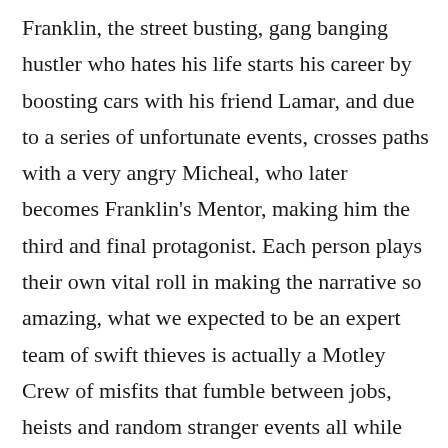Franklin, the street busting, gang banging hustler who hates his life starts his career by boosting cars with his friend Lamar, and due to a series of unfortunate events, crosses paths with a very angry Micheal, who later becomes Franklin's Mentor, making him the third and final protagonist. Each person plays their own vital roll in making the narrative so amazing, what we expected to be an expert team of swift thieves is actually a Motley Crew of misfits that fumble between jobs, heists and random stranger events all while trying not to kill each other over the several disagreements and arguments that progress throughout the game. You very quickly get a sense that each Character has their own distinct personality. Making it very easy to